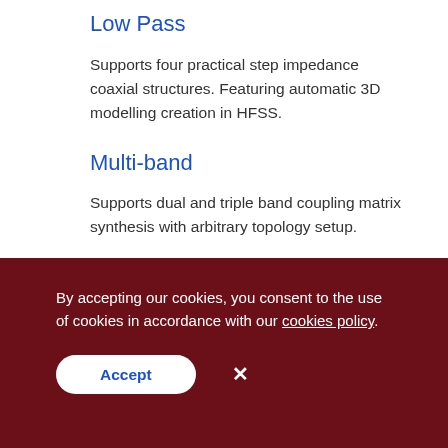Low Pass
Supports four practical step impedance coaxial structures. Featuring automatic 3D modelling creation in HFSS.
Multi-band
Supports dual and triple band coupling matrix synthesis with arbitrary topology setup.
By accepting our cookies, you consent to the use of cookies in accordance with our cookies policy.
Accept  ×